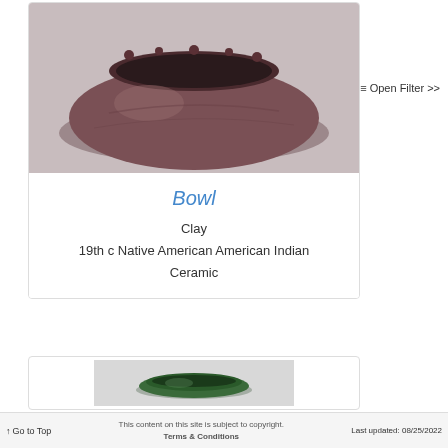≡ Open Filter >>
[Figure (photo): A dark brownish-purple clay bowl, Native American ceramic, photographed against a light gray background. The bowl is wide and flat with a round opening at the top.]
Bowl
Clay
19th c Native American American Indian Ceramic
[Figure (photo): A small dark green jade or stone bowl/dish, shallow, photographed against a light gray background.]
↑ Go to Top   This content on this site is subject to copyright. Terms & Conditions   Last updated: 08/25/2022